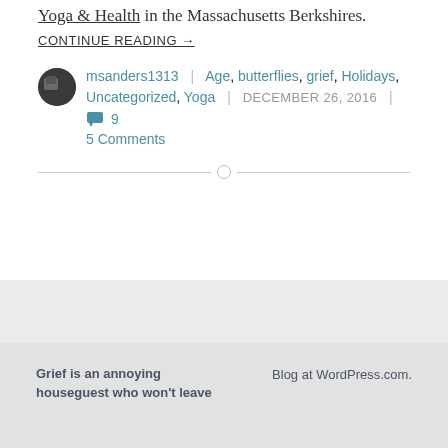Yoga & Health in the Massachusetts Berkshires. CONTINUE READING →
msanders1313 | Age, butterflies, grief, Holidays, Uncategorized, Yoga | DECEMBER 26, 2016 | 5 Comments
Grief is an annoying houseguest who won't leave
Blog at WordPress.com.